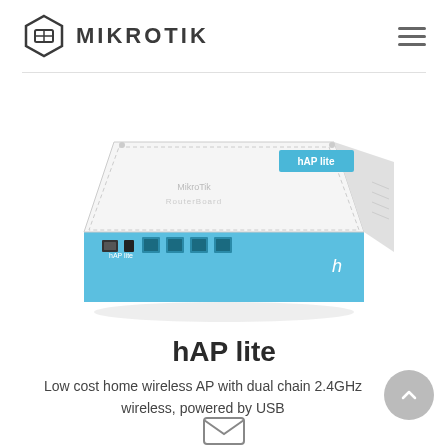MikroTik
[Figure (photo): MikroTik hAP lite router — a white and blue compact wireless access point with Ethernet ports and USB port, viewed from a perspective angle showing the front and top.]
hAP lite
Low cost home wireless AP with dual chain 2.4GHz wireless, powered by USB